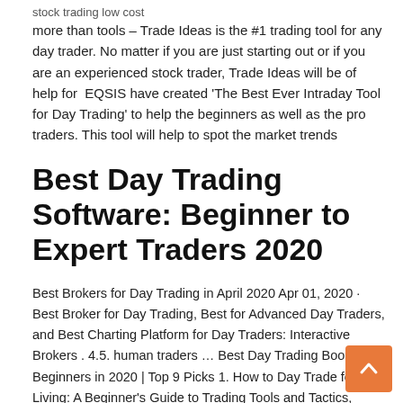stock trading low cost
more than tools – Trade Ideas is the #1 trading tool for any day trader. No matter if you are just starting out or if you are an experienced stock trader, Trade Ideas will be of help for EQSIS have created 'The Best Ever Intraday Tool for Day Trading' to help the beginners as well as the pro traders. This tool will help to spot the market trends
Best Day Trading Software: Beginner to Expert Traders 2020
Best Brokers for Day Trading in April 2020 Apr 01, 2020 · Best Broker for Day Trading, Best for Advanced Day Traders, and Best Charting Platform for Day Traders: Interactive Brokers . 4.5. human traders … Best Day Trading Books For Beginners in 2020 | Top 9 Picks 1. How to Day Trade for a Living: A Beginner's Guide to Trading Tools and Tactics, Money Management, Discipline and Trading Psychology (4.7/5 stars with 795 reviews)